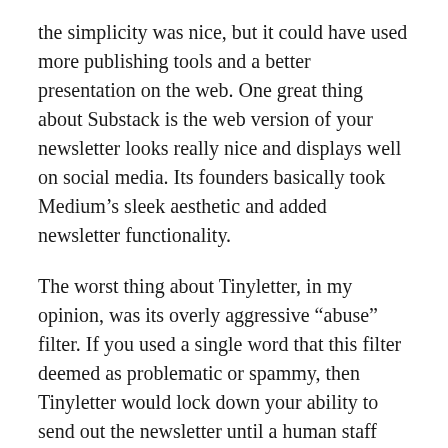the simplicity was nice, but it could have used more publishing tools and a better presentation on the web. One great thing about Substack is the web version of your newsletter looks really nice and displays well on social media. Its founders basically took Medium's sleek aesthetic and added newsletter functionality.
The worst thing about Tinyletter, in my opinion, was its overly aggressive “abuse” filter. If you used a single word that this filter deemed as problematic or spammy, then Tinyletter would lock down your ability to send out the newsletter until a human staff member could review it and unlock your account. The process was infuriating. I remember sometime in 2019 I tried to publish a newsletter about affiliate marketing, and because the filter likely thought the word “affiliate” was too spammy, it put me in Tinyletter jail. It was the straw